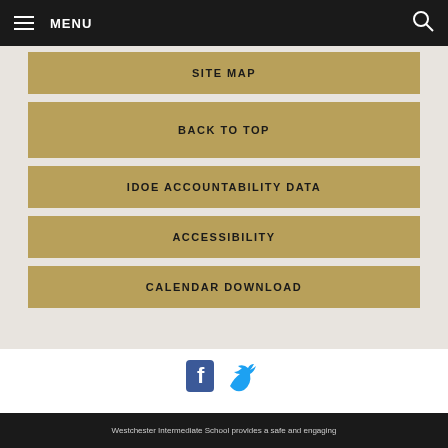MENU
SITE MAP
BACK TO TOP
IDOE ACCOUNTABILITY DATA
ACCESSIBILITY
CALENDAR DOWNLOAD
[Figure (illustration): Facebook and Twitter social media icons]
Westchester Intermediate School provides a safe and engaging